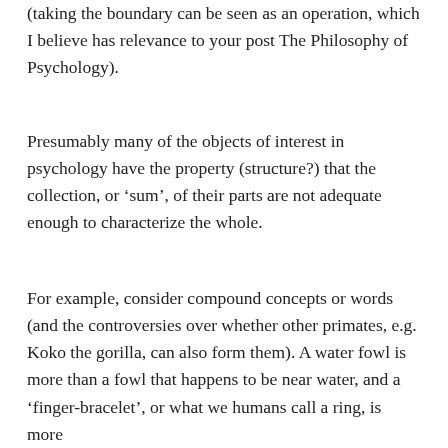(taking the boundary can be seen as an operation, which I believe has relevance to your post The Philosophy of Psychology).
Presumably many of the objects of interest in psychology have the property (structure?) that the collection, or ‘sum’, of their parts are not adequate enough to characterize the whole.
For example, consider compound concepts or words (and the controversies over whether other primates, e.g. Koko the gorilla, can also form them). A water fowl is more than a fowl that happens to be near water, and a ‘finger-bracelet’, or what we humans call a ring, is more than a bracelet that just happens to be on a finger.
Reply
Colin McGinn
January 10, 2019 at 1:16 pm